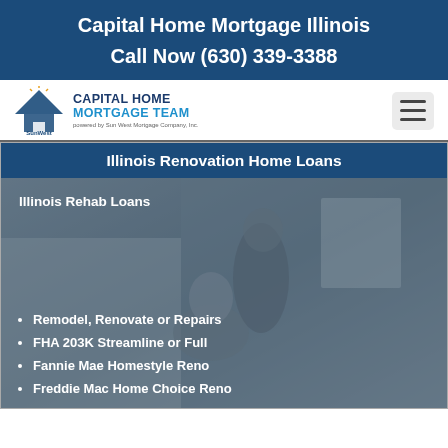Capital Home Mortgage Illinois
Call Now (630) 339-3388
[Figure (logo): SunWest / Capital Home Mortgage Team logo with house icon]
Illinois Renovation Home Loans
[Figure (photo): Happy couple in a home renovation setting, with overlay text about Illinois Rehab Loans and bullet points listing loan types]
Illinois Rehab Loans
Remodel, Renovate or Repairs
FHA 203K Streamline or Full
Fannie Mae Homestyle Reno
Freddie Mac Home Choice Reno